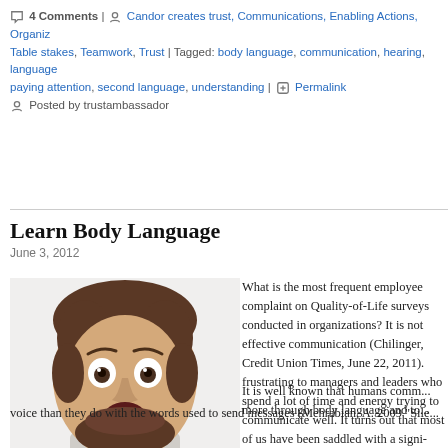4 Comments | Candor creates trust, Communications, Enabling Actions, Organizing, Table stakes, Teamwork, Trust | Tagged: body language, communication, hearing, language, paying attention, second language, understanding | Permalink
Posted by trustambassador
Learn Body Language
June 3, 2012
[Figure (photo): A man with wide eyes and open mouth making a surprised or shocked expression, with brown hair and beard, against a white background.]
What is the most frequent employee complaint on Quality-of-Life surveys conducted in organizations? It is not effective communication (Chilinger, Credit Union Times, June 22, 2011). frustrating to managers and leaders who spend a lot of time and energy trying to communicate well. It turns out that most of us have been saddled with a significant gap in our personal education. Most of us have never taken a course on how to read body language.
It is well known that humans communicate more through body language and tone of voice than they do with the words used to send messages (Mehrabian, A. 2009 "Sile...